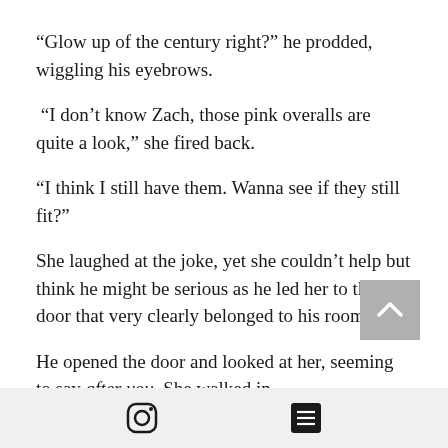“Glow up of the century right?” he prodded, wiggling his eyebrows.
“I don’t know Zach, those pink overalls are quite a look,” she fired back.
“I think I still have them. Wanna see if they still fit?”
She laughed at the joke, yet she couldn’t help but think he might be serious as he led her to the door that very clearly belonged to his room.
He opened the door and looked at her, seeming to say after you. She walked in,
[Figure (other): Scroll-to-top button (grey square with white chevron arrow pointing up)]
[Figure (other): Bottom navigation bar with Instagram icon and a list/menu icon]